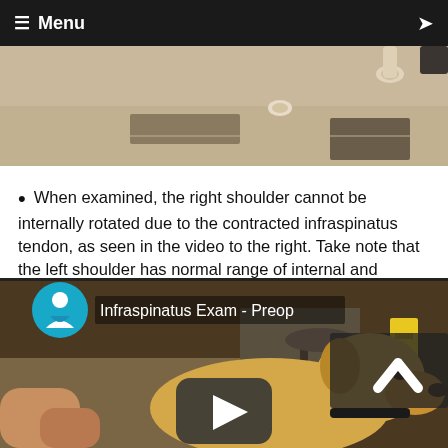≡ Menu
[Figure (photo): Top strip showing a dog (likely a Labrador) walking on a floor, seen from above or at an angle, showing paws and hindquarters on a beige/tan floor with a dark mat.]
When examined, the right shoulder cannot be internally rotated due to the contracted infraspinatus tendon, as seen in the video to the right. Take note that the left shoulder has normal range of internal and external rotation.
[Figure (screenshot): Video thumbnail showing a Labrador dog lying down, being examined. The video is titled 'Infraspinatus Exam - Preop' with a YouTube-style play button in the center and a scroll-up arrow icon in the upper right. A teal/blue logo icon appears in the upper left.]